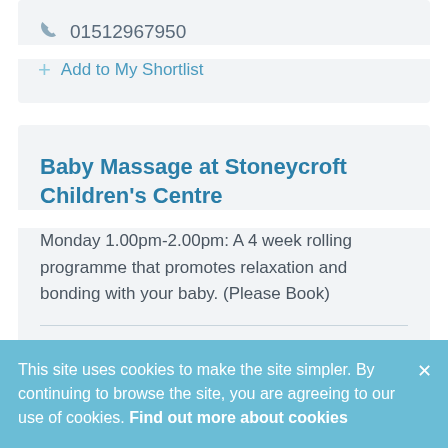01512967950
+ Add to My Shortlist
Baby Massage at Stoneycroft Children's Centre
Monday 1.00pm-2.00pm: A 4 week rolling programme that promotes relaxation and bonding with your baby. (Please Book)
This site uses cookies to make the site simpler. By continuing to browse the site, you are agreeing to our use of cookies. Find out more about cookies